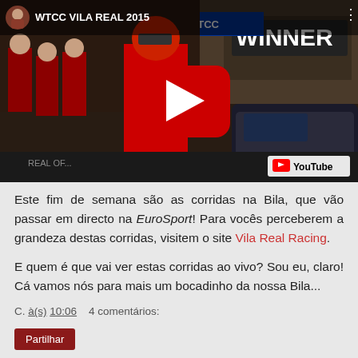[Figure (screenshot): YouTube video thumbnail for 'WTCC VILA REAL 2015' showing a Honda racing driver in red suit celebrating at a winner's finish line with WTCC branding. Large red YouTube play button in center. YouTube watermark at bottom right.]
Este fim de semana são as corridas na Bila, que vão passar em directo na EuroSport! Para vocês perceberem a grandeza destas corridas, visitem o site Vila Real Racing.
E quem é que vai ver estas corridas ao vivo? Sou eu, claro! Cá vamos nós para mais um bocadinho da nossa Bila...
C. à(s) 10:06    4 comentários:
Partilhar